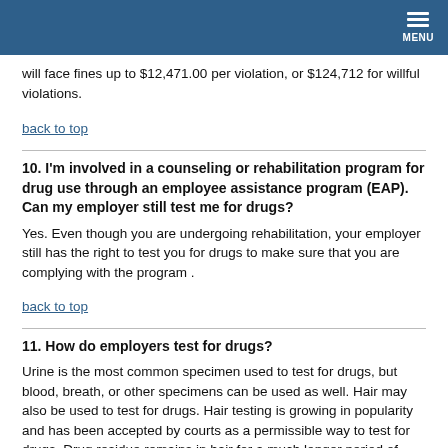MENU
will face fines up to $12,471.00 per violation, or $124,712 for willful violations.
back to top
10. I'm involved in a counseling or rehabilitation program for drug use through an employee assistance program (EAP). Can my employer still test me for drugs?
Yes. Even though you are undergoing rehabilitation, your employer still has the right to test you for drugs to make sure that you are complying with the program .
back to top
11. How do employers test for drugs?
Urine is the most common specimen used to test for drugs, but blood, breath, or other specimens can be used as well. Hair may also be used to test for drugs. Hair testing is growing in popularity and has been accepted by courts as a permissible way to test for drugs. Drug residue remains in hair for a much longer period of time